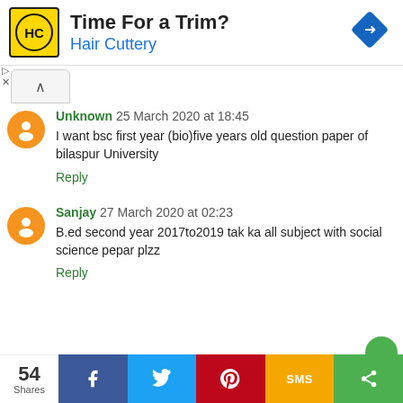[Figure (other): Advertisement banner for Hair Cuttery with logo, text 'Time For a Trim?' and 'Hair Cuttery', and a blue navigation arrow icon]
Unknown 25 March 2020 at 18:45
I want bsc first year (bio)five years old question paper of bilaspur University
Reply
Sanjay 27 March 2020 at 02:23
B.ed second year 2017to2019 tak ka all subject with social science pepar plzz
Reply
[Figure (infographic): Share bar showing 54 Shares with Facebook, Twitter, Pinterest, SMS, and share icons]